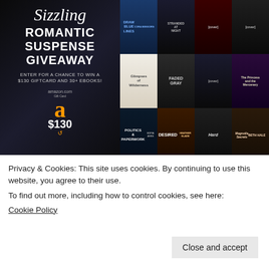[Figure (illustration): Sizzling Romantic Suspense Giveaway promotional image collage. Left side: dark background with title text 'Sizzling Romantic Suspense Giveaway', subtext 'Enter for a chance to win a $130 Giftcard and 30+ ebooks!', and Amazon $130 gift card logo. Right side: grid of romance/suspense novel book covers including titles: Draw Blue Lines (Cora Bensorn), Stranded at Night, Glimpses of Wilderness, Faded Gray, The Princess and the Mercenary, Politics & Paperwork (Sofia Aves), Desired (Heather Slade), Hard, Magnolia Secrets (Beth Hale), Blurred Red Lines (Cora Bensorn), Omerta, On His Six (Patricia D. Eddy), Marked for Death. Bottom row: Covert Threat, [Jay Crownover title], Candace Irvin Aimpoint, Uniquely Mine (Theresa Rennebold), Alex, The Secrets We...]
Privacy & Cookies: This site uses cookies. By continuing to use this website, you agree to their use.
To find out more, including how to control cookies, see here:
Cookie Policy
Close and accept